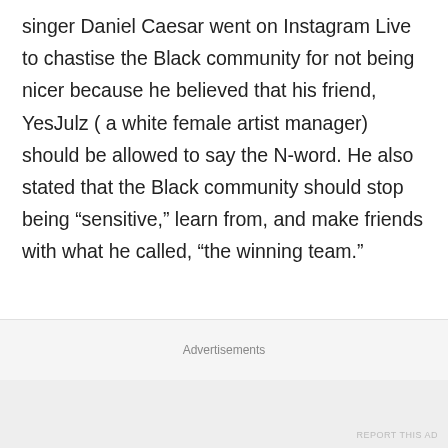singer Daniel Caesar went on Instagram Live to chastise the Black community for not being nicer because he believed that his friend, YesJulz ( a white female artist manager) should be allowed to say the N-word. He also stated that the Black community should stop being “sensitive,” learn from, and make friends with what he called, “the winning team.”
He then put the onus on the Black community to “bridge the gap,” concerning race. He also said,
Advertisements